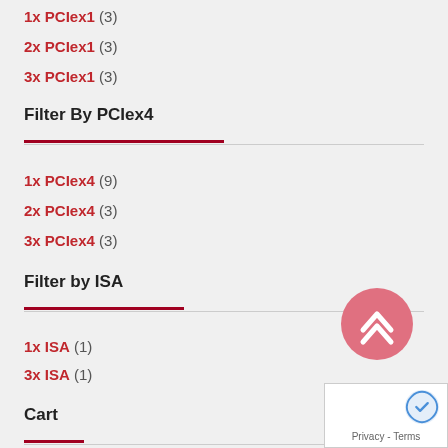1x PCIex1 (3)
2x PCIex1 (3)
3x PCIex1 (3)
Filter By PCIex4
1x PCIex4 (9)
2x PCIex4 (3)
3x PCIex4 (3)
Filter by ISA
1x ISA (1)
3x ISA (1)
Cart